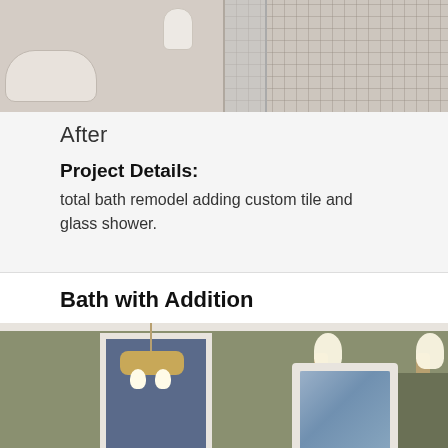[Figure (photo): Photo of bathroom before/after showing bathtub, toilet, and glass tile shower stall]
After
Project Details:
total bath remodel adding custom tile and glass shower.
Bath with Addition
[Figure (photo): Interior photo of renovated bathroom with addition showing chandelier, wall sconces, doorway, mirror cabinet, wainscoting, and sage green walls]